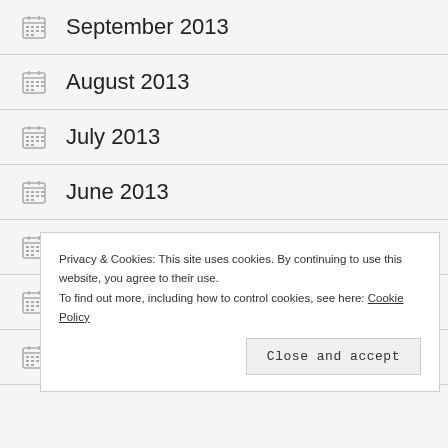September 2013
August 2013
July 2013
June 2013
May 2013
April 2013
March 2013
Privacy & Cookies: This site uses cookies. By continuing to use this website, you agree to their use.
To find out more, including how to control cookies, see here: Cookie Policy
Close and accept